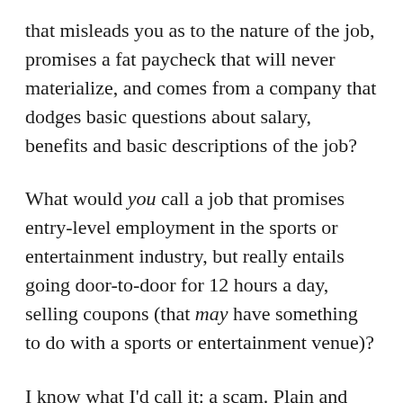that misleads you as to the nature of the job, promises a fat paycheck that will never materialize, and comes from a company that dodges basic questions about salary, benefits and basic descriptions of the job?
What would you call a job that promises entry-level employment in the sports or entertainment industry, but really entails going door-to-door for 12 hours a day, selling coupons (that may have something to do with a sports or entertainment venue)?
I know what I'd call it: a scam. Plain and simple.